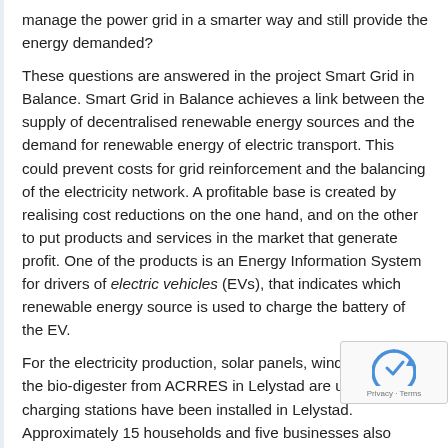manage the power grid in a smarter way and still provide the energy demanded?
These questions are answered in the project Smart Grid in Balance. Smart Grid in Balance achieves a link between the supply of decentralised renewable energy sources and the demand for renewable energy of electric transport. This could prevent costs for grid reinforcement and the balancing of the electricity network. A profitable base is created by realising cost reductions on the one hand, and on the other to put products and services in the market that generate profit. One of the products is an Energy Information System for drivers of electric vehicles (EVs), that indicates which renewable energy source is used to charge the battery of the EV.
For the electricity production, solar panels, wind farms and the bio-digester from ACRRES in Lelystad are used. Also, charging stations have been installed in Lelystad. Approximately 15 households and five businesses also participate as a prosumer in the test environment. Approximately 20 EVs and a smart charging